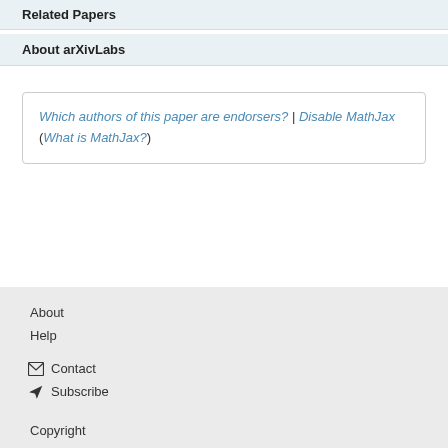Related Papers
About arXivLabs
Which authors of this paper are endorsers? | Disable MathJax (What is MathJax?)
About
Help
Contact
Subscribe
Copyright